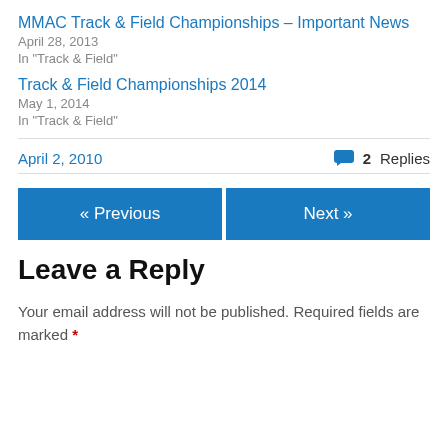MMAC Track & Field Championships – Important News
April 28, 2013
In "Track & Field"
Track & Field Championships 2014
May 1, 2014
In "Track & Field"
April 2, 2010
2 Replies
« Previous
Next »
Leave a Reply
Your email address will not be published. Required fields are marked *